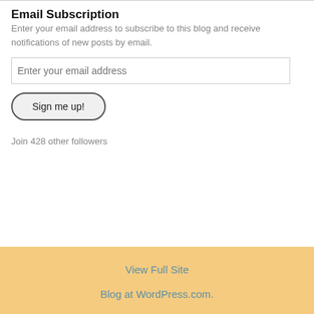Email Subscription
Enter your email address to subscribe to this blog and receive notifications of new posts by email.
Enter your email address
Sign me up!
Join 428 other followers
View Full Site
Blog at WordPress.com.